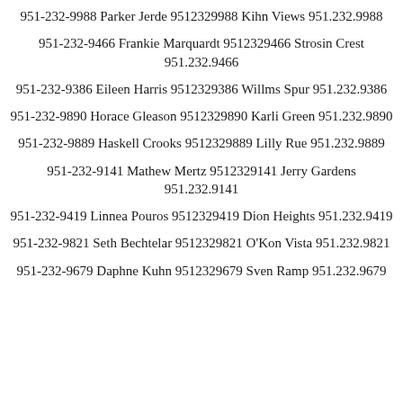951-232-9988 Parker Jerde 9512329988 Kihn Views 951.232.9988
951-232-9466 Frankie Marquardt 9512329466 Strosin Crest 951.232.9466
951-232-9386 Eileen Harris 9512329386 Willms Spur 951.232.9386
951-232-9890 Horace Gleason 9512329890 Karli Green 951.232.9890
951-232-9889 Haskell Crooks 9512329889 Lilly Rue 951.232.9889
951-232-9141 Mathew Mertz 9512329141 Jerry Gardens 951.232.9141
951-232-9419 Linnea Pouros 9512329419 Dion Heights 951.232.9419
951-232-9821 Seth Bechtelar 9512329821 O'Kon Vista 951.232.9821
951-232-9679 Daphne Kuhn 9512329679 Sven Ramp 951.232.9679